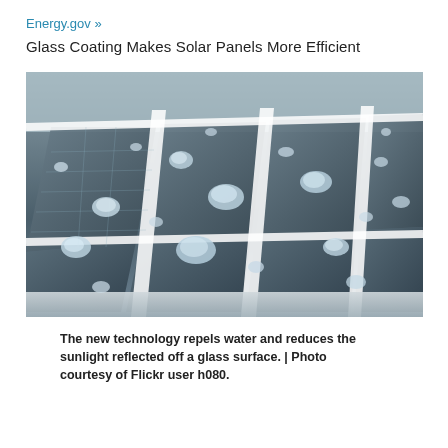Energy.gov »
Glass Coating Makes Solar Panels More Efficient
[Figure (photo): Close-up photograph of solar panels with water droplets beading on the glass surface, showing the hydrophobic coating technology. The panels are viewed at an angle showing the grid of photovoltaic cells with white frame borders between panels.]
The new technology repels water and reduces the sunlight reflected off a glass surface. | Photo courtesy of Flickr user h080.